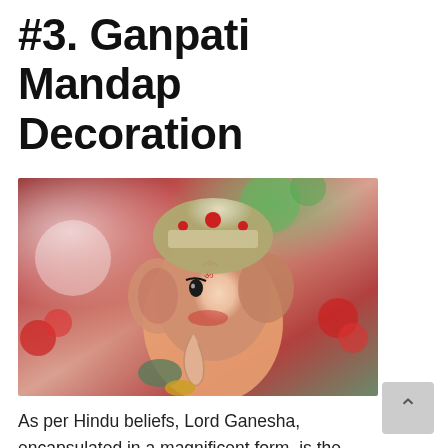#3. Ganpati Mandap Decoration
[Figure (photo): Close-up photograph of a Lord Ganesha idol wearing a jeweled crown, with red powder decoration, surrounded by red and green bokeh background]
As per Hindu beliefs, Lord Ganesha, encapsulated in a magnificent form, is the patron of intellectuals, bankers, scribes and